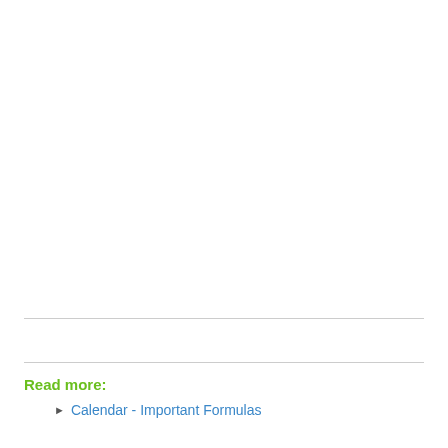Read more:
Calendar - Important Formulas